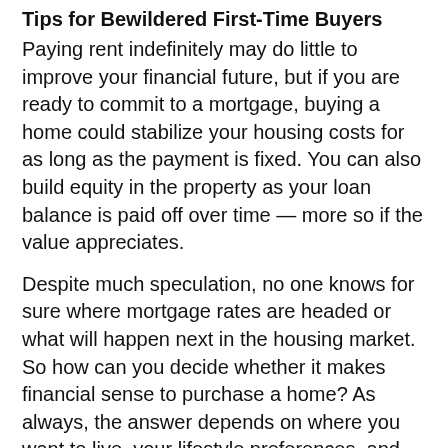Tips for Bewildered First-Time Buyers
Paying rent indefinitely may do little to improve your financial future, but if you are ready to commit to a mortgage, buying a home could stabilize your housing costs for as long as the payment is fixed. You can also build equity in the property as your loan balance is paid off over time — more so if the value appreciates.
Despite much speculation, no one knows for sure where mortgage rates are headed or what will happen next in the housing market. So how can you decide whether it makes financial sense to purchase a home? As always, the answer depends on where you want to live, your lifestyle preferences, and your finances. Here are three ways to start preparing for the homebuying process.
Become a better borrower. Before you apply for a mortgage, order a copy of your credit report to check for errors and clean up any inaccuracies. Having a higher credit score could earn you a lower interest rate.